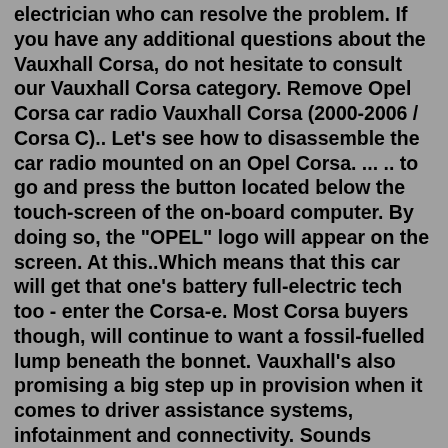electrician who can resolve the problem. If you have any additional questions about the Vauxhall Corsa, do not hesitate to consult our Vauxhall Corsa category. Remove Opel Corsa car radio Vauxhall Corsa (2000-2006 / Corsa C).. Let's see how to disassemble the car radio mounted on an Opel Corsa. ... .. to go and press the button located below the touch-screen of the on-board computer. By doing so, the "OPEL" logo will appear on the screen. At this..Which means that this car will get that one's battery full-electric tech too - enter the Corsa-e. Most Corsa buyers though, will continue to want a fossil-fuelled lump beneath the bonnet. Vauxhall's also promising a big step up in provision when it comes to driver assistance systems, infotainment and connectivity. Sounds promising. Driving ...Hi, How are U all ... i need code for radio Opel Touch&connect. 7612880142. CM0142D0808896. GM-13406438. BOSCH-45-311-6246.Research conducted by Vauxhall has found that the following qualities repeatedly lead buyers to